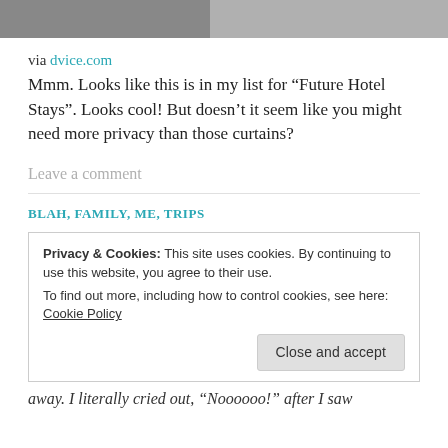[Figure (photo): Top strip showing hotel room photo(s)]
via dvice.com
Mmm. Looks like this is in my list for “Future Hotel Stays”. Looks cool! But doesn’t it seem like you might need more privacy than those curtains?
Leave a comment
BLAH, FAMILY, ME, TRIPS
Privacy & Cookies: This site uses cookies. By continuing to use this website, you agree to their use.
To find out more, including how to control cookies, see here: Cookie Policy
Close and accept
away. I literally cried out, “Noooooo!” after I saw